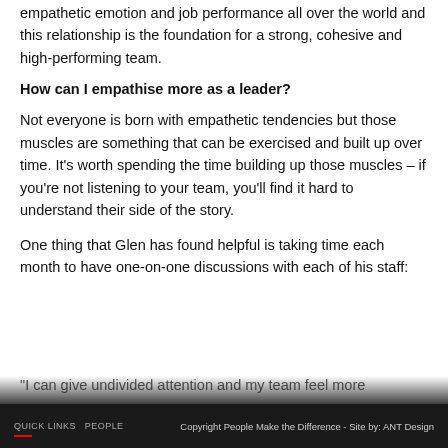empathetic emotion and job performance all over the world and this relationship is the foundation for a strong, cohesive and high-performing team.
How can I empathise more as a leader?
Not everyone is born with empathetic tendencies but those muscles are something that can be exercised and built up over time. It’s worth spending the time building up those muscles – if you’re not listening to your team, you’ll find it hard to understand their side of the story.
One thing that Glen has found helpful is taking time each month to have one-on-one discussions with each of his staff:
“I can give undivided attention and my team feel more…
QUICK LINKS  PEOPLE  Copyright People Make the Difference - Site by: ANT Design